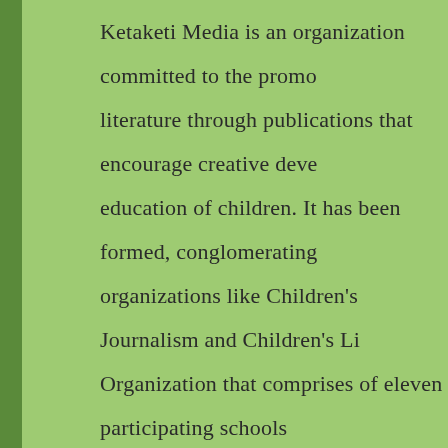Ketaketi Media is an organization committed to the promotion of children's literature through publications that encourage creative development and education of children. It has been formed, conglomerating organizations like Children's Journalism and Children's Literature Organization that comprises of eleven participating schools, Ketaketi Group, Ketaketi Online, and Ketaketi Nepal. These organizations, merged into Ketaketi Media, were in operation since 1998. The Media publishes for children, trains children and adult authors to write children's books, runs awareness programs to encourage reading, donates freely to libraries, coordinates all types of media—print, online, broadcasting and film—to work for the promotion of children's literature. It organizes